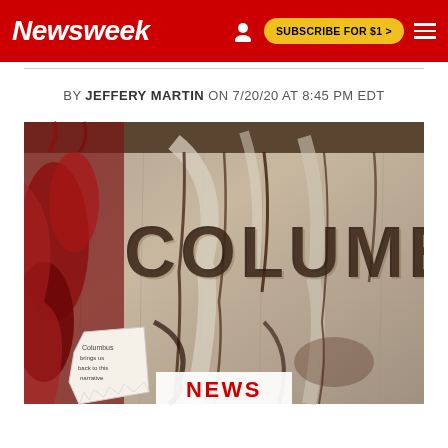Newsweek | SUBSCRIBE FOR $1 >
BY JEFFERY MARTIN ON 7/20/20 AT 8:45 PM EDT
[Figure (photo): Close-up photograph of a stone pedestal inscribed with 'COLUMBUS', covered in graffiti including red and purple paint drips and spray paint marks. A torn piece of paper is attached to the bottom left of the pedestal. The image is taken from a low angle looking up.]
NEWS